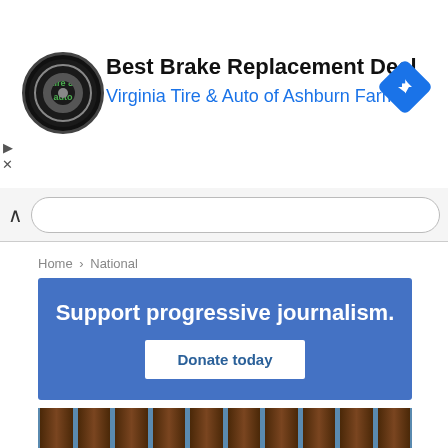[Figure (infographic): Advertisement banner: Best Brake Replacement Deal, Virginia Tire & Auto of Ashburn Farms, with tire/auto logo and navigation direction icon]
Home › National
[Figure (infographic): Blue promotional banner: 'Support progressive journalism.' with 'Donate today' button]
[Figure (photo): Photo of a person (appears to be Donald Trump) standing in front of a border fence with vertical steel bars and blue sky]